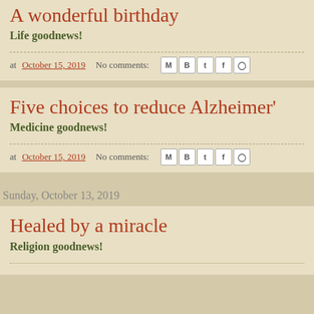A wonderful birthday
Life goodnews!
at October 15, 2019   No comments:
Five choices to reduce Alzheimer'
Medicine goodnews!
at October 15, 2019   No comments:
Sunday, October 13, 2019
Healed by a miracle
Religion goodnews!